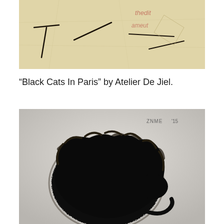[Figure (illustration): Artwork showing abstract line marks (resembling letters or shapes) on a warm cream/tan paper background, with partially visible watermark text 'thedit' and 'ameut' in reddish-brown on the right side.]
“Black Cats In Paris” by Atelier De Jiel.
[Figure (photo): Black and white photograph of a fluffy black cat curled up into a round ball shape, resting on a light grey/white surface. The cat's dark fur is detailed and textured. In the upper right corner there is a handwritten signature reading 'ZNME '15'.]